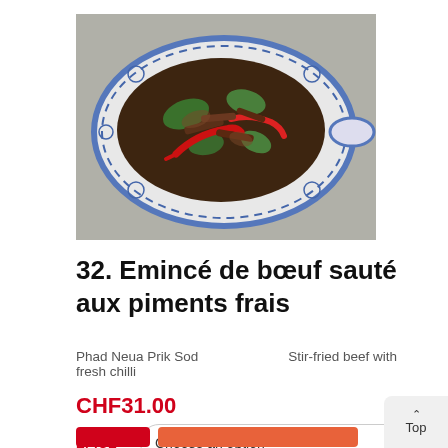[Figure (photo): A Thai decorative dish plate with stir-fried beef and fresh chilli peppers on a metallic surface, accompanied by a red chili pepper emoji.]
32. Emincé de bœuf sauté aux piments frais
Phad Neua Prik Sod    Stir-fried beef with fresh chilli
CHF31.00
EPICE  Choose an option
Top